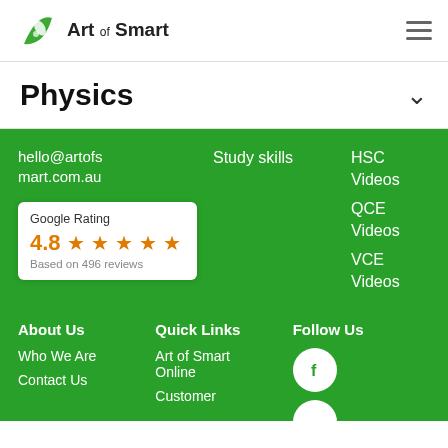[Figure (logo): Art of Smart logo with green leaf icon and text]
Physics
hello@artofsmart.com.au
Study skills
HSC Videos
QCE Videos
VCE Videos
[Figure (infographic): Google Rating card showing 4.8 stars based on 496 reviews]
About Us
Who We Are
Contact Us
Quick Links
Art of Smart Online
Customer
Follow Us
[Figure (infographic): Facebook circle icon]